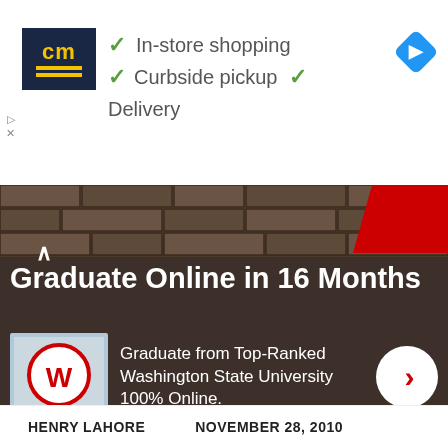[Figure (screenshot): Advertisement banner with CM logo, checkmark list: In-store shopping, Curbside pickup, Delivery, and a blue diamond navigation arrow icon]
[Figure (photo): Dark brown stone wall background with Washington State University advertisement. Large bold white text reads 'Graduate Online in 16 Months'. Below is WSU crimson logo, text 'Graduate from Top-Ranked Washington State University 100% Online.' and a white circle with red arrow.]
HENRY LAHORE   NOVEMBER 28, 2010